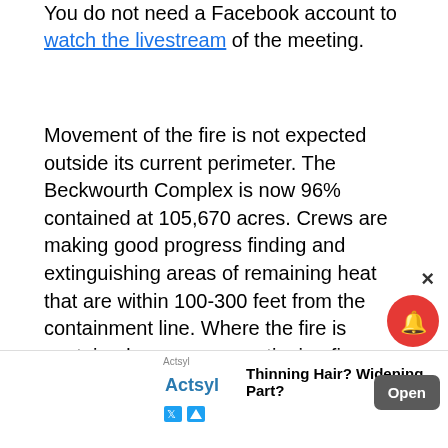You do not need a Facebook account to watch the livestream of the meeting.
Movement of the fire is not expected outside its current perimeter. The Beckwourth Complex is now 96% contained at 105,670 acres. Crews are making good progress finding and extinguishing areas of remaining heat that are within 100-300 feet from the containment line. Where the fire is contained, crews are continuing fire-suppression repair work as well as removing excess fire hose and equipment. As containment continues to increase, firefighting resources are being reassigned to other incidents or returning home.
[Figure (screenshot): Advertisement banner for Actsyl - Thinning Hair? Widening Part? with Open button]